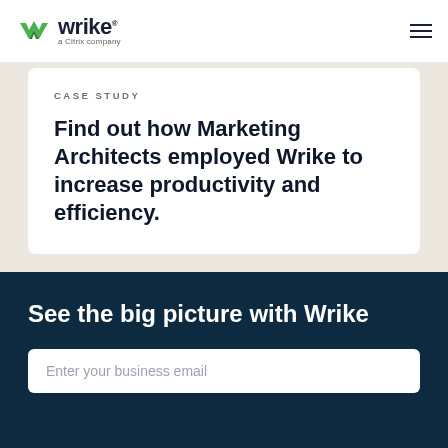wrike — a Citrix company
CASE STUDY
Find out how Marketing Architects employed Wrike to increase productivity and efficiency.
See the big picture with Wrike
Enter your business email